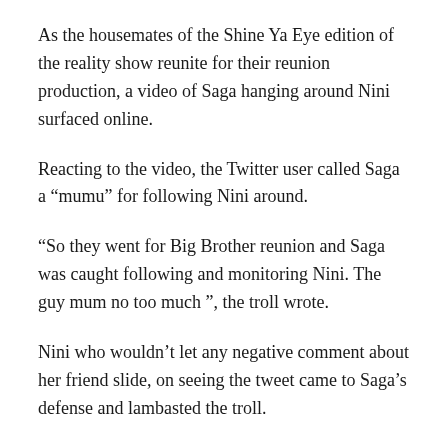As the housemates of the Shine Ya Eye edition of the reality show reunite for their reunion production, a video of Saga hanging around Nini surfaced online.
Reacting to the video, the Twitter user called Saga a “mumu” for following Nini around.
“So they went for Big Brother reunion and Saga was caught following and monitoring Nini. The guy mum no too much ”, the troll wrote.
Nini who wouldn’t let any negative comment about her friend slide, on seeing the tweet came to Saga’s defense and lambasted the troll.
“If you followed your life ambitions (that’s if you have any) and monitored your growth, you’d have a better life than